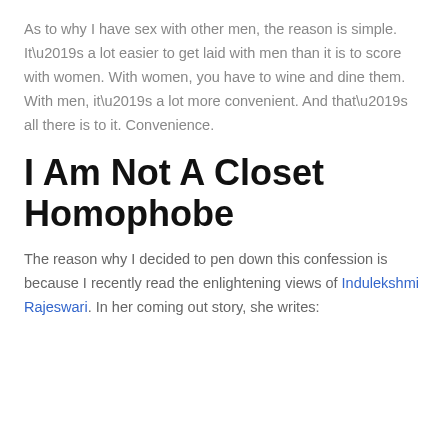As to why I have sex with other men, the reason is simple. It’s a lot easier to get laid with men than it is to score with women. With women, you have to wine and dine them. With men, it’s a lot more convenient. And that’s all there is to it. Convenience.
I Am Not A Closet Homophobe
The reason why I decided to pen down this confession is because I recently read the enlightening views of Indulekshmi Rajeswari. In her coming out story, she writes: